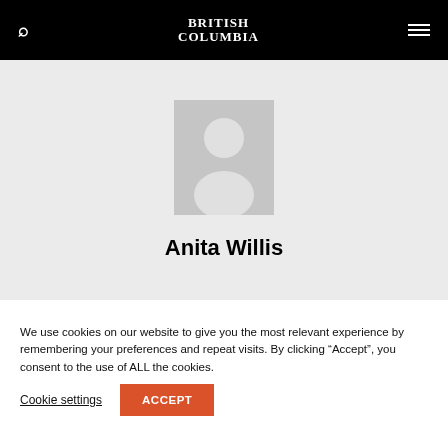BRITISH COLUMBIA
[Figure (photo): Placeholder profile photo icon — grey silhouette of a person on a lighter grey background]
Anita Willis
We use cookies on our website to give you the most relevant experience by remembering your preferences and repeat visits. By clicking “Accept”, you consent to the use of ALL the cookies.
Cookie settings  ACCEPT